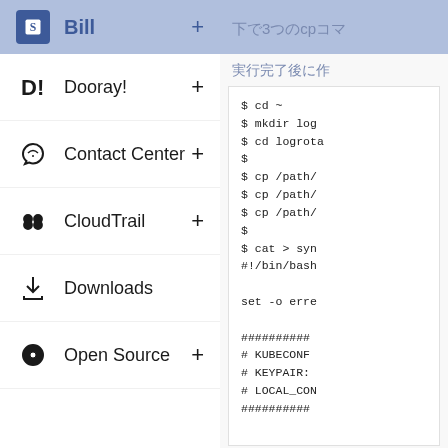Bill +
Dooray! +
Contact Center +
CloudTrail +
Downloads
Open Source +
下で3つのcpコマ
実行完了後に作
$ cd ~
$ mkdir log
$ cd logrota
$
$ cp /path/
$ cp /path/
$ cp /path/
$
$ cat > syn
#!/bin/bash

set -o erre

##########
# KUBECONI
# KEYPAIR:
# LOCAL_CON
##########